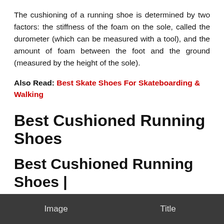The cushioning of a running shoe is determined by two factors: the stiffness of the foam on the sole, called the durometer (which can be measured with a tool), and the amount of foam between the foot and the ground (measured by the height of the sole).
Also Read: Best Skate Shoes For Skateboarding & Walking
Best Cushioned Running Shoes
Best Cushioned Running Shoes | Comparison Table 2022
| Image | Title |
| --- | --- |